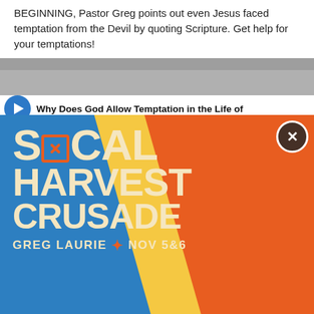BEGINNING, Pastor Greg points out even Jesus faced temptation from the Devil by quoting Scripture. Get help for your temptations!
Why Does God Allow Temptation in the Life of...
[Figure (illustration): SoCal Harvest Crusade advertisement modal overlay with blue, orange/red, and yellow diagonal color blocks. Features large bold cream/beige text reading 'SOCAL HARVEST CRUSADE' with 'GREG LAURIE • NOV 5&6' at bottom. Has a close (X) button in top right corner with white circle border.]